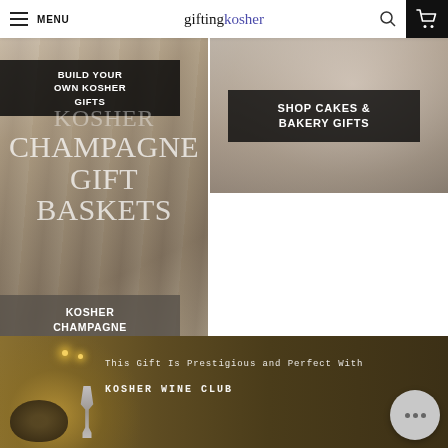MENU | giftingkosher
[Figure (screenshot): Left panel with blurred champagne bottles background showing 'BUILD YOUR OWN KOSHER GIFTS' button overlay, large text 'KOSHER CHAMPAGNE GIFT BASKETS', and 'KOSHER CHAMPAGNE GIFTS' button at bottom]
[Figure (screenshot): Right panel with food/cake background and 'SHOP CAKES & BAKERY GIFTS' button overlay]
[Figure (screenshot): Bottom banner with dark golden/brown background, candlestick and goblet imagery on left, text 'This Gift Is Prestigious and Perfect With' and 'KOSHER WINE CLUB', with chat bubble icon]